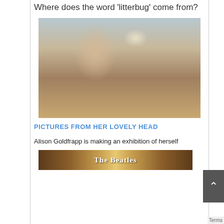Where does the word 'litterbug' come from?
[Figure (photo): A blonde woman with curly hair wearing a white top, photographed in a stylish living room interior]
PICTURES FROM HER LOVELY HEAD
Alison Goldfrapp is making an exhibition of herself
[Figure (photo): Partial image showing The Beatles text/logo on what appears to be a brick background]